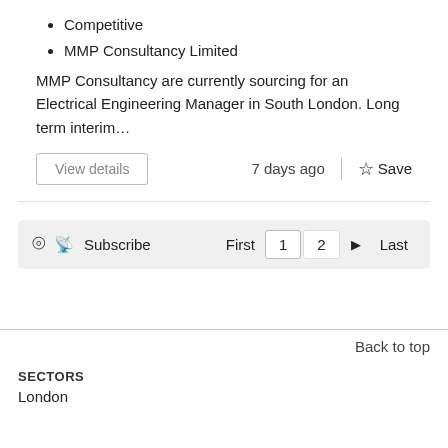Competitive
MMP Consultancy Limited
MMP Consultancy are currently sourcing for an Electrical Engineering Manager in South London. Long term interim…
View details
7 days ago
Save
Subscribe
First  1  2  ▶  Last
Back to top
SECTORS
London